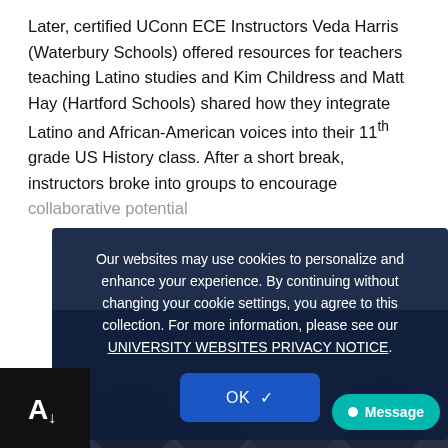Later, certified UConn ECE Instructors Veda Harris (Waterbury Schools) offered resources for teachers teaching Latino studies and Kim Childress and Matt Hay (Hartford Schools) shared how they integrate Latino and African-American voices into their 11th grade US History class. After a short break, instructors broke into groups to encourage collaborative potential...
[Figure (photo): Group photo of people in a room, partially obscured by dark overlay]
Our websites may use cookies to personalize and enhance your experience. By continuing without changing your cookie settings, you agree to this collection. For more information, please see our UNIVERSITY WEBSITES PRIVACY NOTICE.